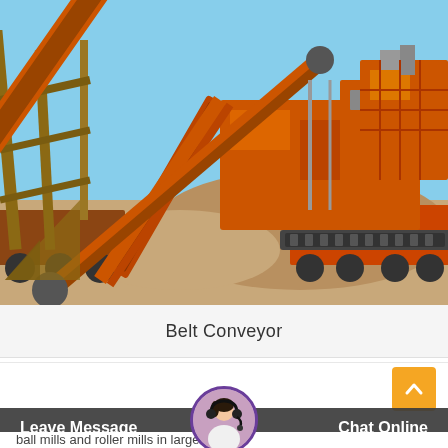[Figure (photo): Industrial belt conveyor machinery at a mining or quarrying site. Orange-colored heavy equipment with a large inclined conveyor belt, metal framework structures, and trucks/trailers. Sandy ground with blue sky in background.]
Belt Conveyor
Related case
ball mills and roller mills in large